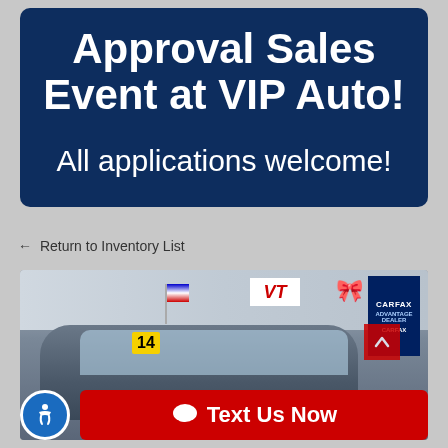Approval Sales Event at VIP Auto!
All applications welcome!
← Return to Inventory List
[Figure (photo): Exterior photo of a car at a VIP Auto dealership lot. A dark sedan is shown from the front with a price tag showing '14', an American flag, and dealership signage including a CARFAX Advantage Dealer sign.]
🗨 Text Us Now